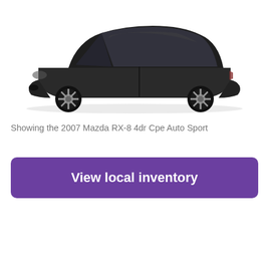[Figure (photo): Side view of a dark grey/black 2007 Mazda RX-8 4-door coupe sport car on a white background]
Showing the 2007 Mazda RX-8 4dr Cpe Auto Sport
View local inventory